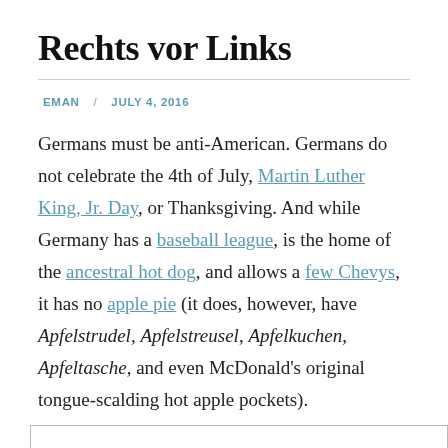Rechts vor Links
EMAN / JULY 4, 2016
Germans must be anti-American. Germans do not celebrate the 4th of July, Martin Luther King, Jr. Day, or Thanksgiving. And while Germany has a baseball league, is the home of the ancestral hot dog, and allows a few Chevys, it has no apple pie (it does, however, have Apfelstrudel, Apfelstreusel, Apfelkuchen, Apfeltasche, and even McDonald's original tongue-scalding hot apple pockets).